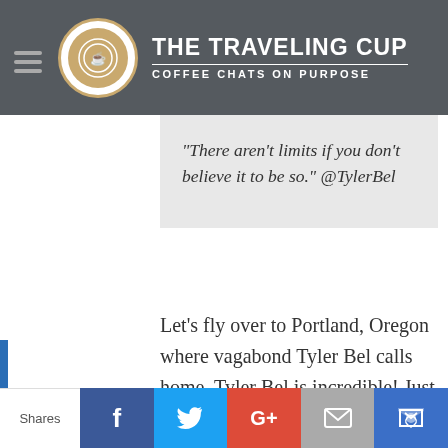THE TRAVELING CUP — COFFEE CHATS ON PURPOSE
“There aren’t limits if you don’t believe it to be so.” @TylerBel
Let’s fly over to Portland, Oregon where vagabond Tyler Bel calls home. Tyler Bel is incredible! Just one look at her impressive resumé and you’ll be amazed. I like to think of her as the Peter Pan of an entrepreneur, because she creates fantastical companies that help push people’s
Shares | Facebook | Twitter | Google+ | Email | Crown